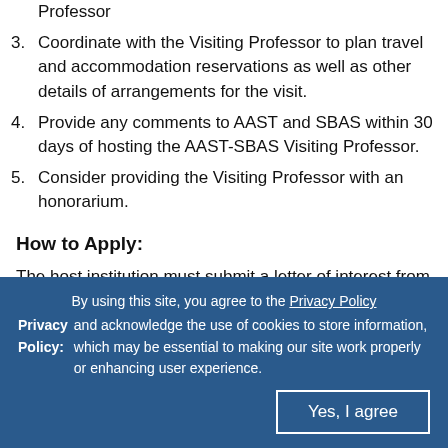Professor
3. Coordinate with the Visiting Professor to plan travel and accommodation reservations as well as other details of arrangements for the visit.
4. Provide any comments to AAST and SBAS within 30 days of hosting the AAST-SBAS Visiting Professor.
5. Consider providing the Visiting Professor with an honorarium.
How to Apply:
The host institution must submit a letter of interest from
By using this site, you agree to the Privacy Policy and acknowledge the use of cookies to store information, which may be essential to making our site work properly or enhancing user experience. Privacy Policy: Yes, I agree